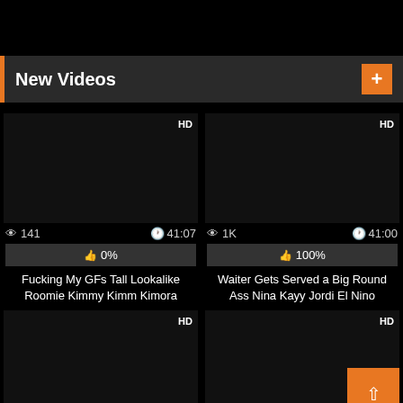New Videos
[Figure (screenshot): Video thumbnail 1 - dark/black thumbnail with HD badge, 141 views, 41:07 duration, 0% likes, titled 'Fucking My GFs Tall Lookalike Roomie Kimmy Kimm Kimora']
[Figure (screenshot): Video thumbnail 2 - dark/black thumbnail with HD badge, 1K views, 41:00 duration, 100% likes, titled 'Waiter Gets Served a Big Round Ass Nina Kayy Jordi El Nino']
[Figure (screenshot): Video thumbnail 3 - dark/black thumbnail with HD badge, 566 views, 43:07 duration]
[Figure (screenshot): Video thumbnail 4 - dark/black thumbnail with HD badge, 1K views, 41:07 duration, with back-to-top orange button overlay]